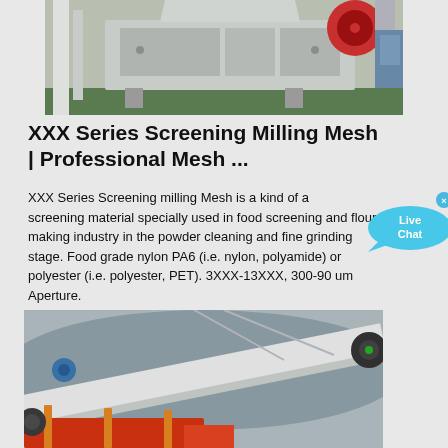[Figure (photo): Industrial jaw crusher machine, large grey metal equipment with red circular flywheel, parked in a facility with a truck partially visible in background]
XXX Series Screening Milling Mesh | Professional Mesh ...
XXX Series Screening milling Mesh is a kind of a screening material specially used in food screening and flour making industry in the powder cleaning and fine grinding stage. Food grade nylon PA6 (i.e. nylon, polyamide) or polyester (i.e. polyester, PET). 3XXX-13XXX, 300-90 um Aperture.
[Figure (photo): Industrial conveyor belt screening equipment with red frame and orange support structure, outdoors at a mining or quarrying site]